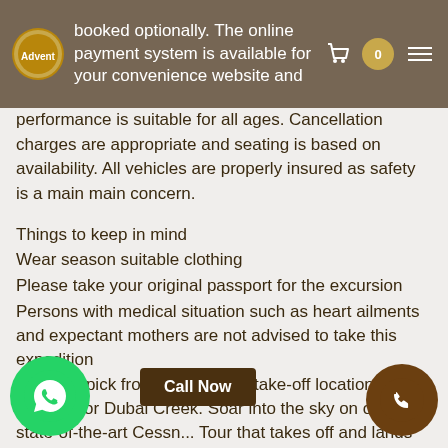booked optionally. The online payment system is available for your convenience website and
performance is suitable for all ages. Cancellation charges are appropriate and seating is based on availability. All vehicles are properly insured as safety is a main main concern.
Things to keep in mind
Wear season suitable clothing
Please take your original passport for the excursion
Persons with medical situation such as heart ailments and expectant mothers are not advised to take this expedition
Get your pick from two suitable take-off locations, Jebel Ali or Dubai Creek. Soar into the sky on our state-of-the-art Cessn... Tour that takes off and lands on water.